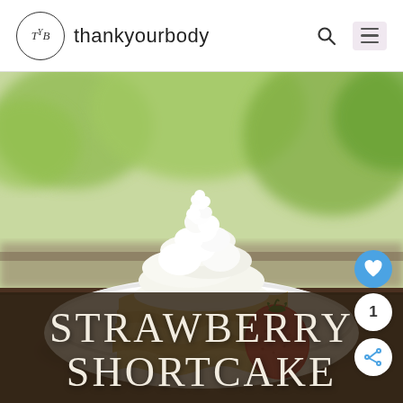thankyourbody
[Figure (photo): A strawberry shortcake dessert on a white plate — stacked wavy cake layers topped with large piles of whipped cream, with a fresh strawberry on the side. Background shows blurred green trees outdoors on a sunny day.]
STRAWBERRY SHORTCAKE